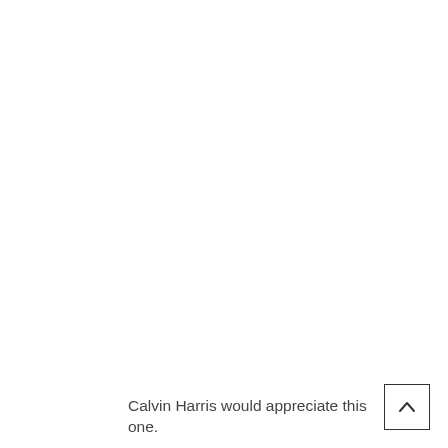Calvin Harris would appreciate this one.
[Figure (other): A small scroll-to-top button with an upward-pointing chevron arrow, positioned in the bottom-right corner of the page.]